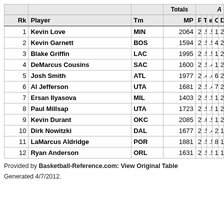| Rk | Player | Tm | MP | PER | TS% | eFG% | ORB% | DRB% |
| --- | --- | --- | --- | --- | --- | --- | --- | --- |
| 1 | Kevin Love | MIN | 2064 | 25.6 | .571 | .500 | 11.4 | 26.5 |
| 2 | Kevin Garnett | BOS | 1594 | 20.2 | .553 | .510 | 4.4 | 25.8 |
| 3 | Blake Griffin | LAC | 1995 | 22.9 | .551 | .540 | 10.4 | 25.5 |
| 4 | DeMarcus Cousins | SAC | 1600 | 21.8 | .506 | .451 | 14.8 | 25.3 |
| 5 | Josh Smith | ATL | 1977 | 21.1 | .494 | .466 | 6.7 | 25.0 |
| 6 | Al Jefferson | UTA | 1681 | 23.0 | .521 | .493 | 7.4 | 24.8 |
| 7 | Ersan Ilyasova | MIL | 1403 | 20.5 | .574 | .529 | 12.7 | 22.8 |
| 8 | Paul Millsap | UTA | 1723 | 23.1 | .556 | .510 | 10.4 | 21.7 |
| 9 | Kevin Durant | OKC | 2085 | 26.2 | .609 | .551 | 1.9 | 20.8 |
| 10 | Dirk Nowitzki | DAL | 1677 | 22.0 | .560 | .493 | 2.7 | 19.6 |
| 11 | LaMarcus Aldridge | POR | 1881 | 22.7 | .561 | .515 | 8.7 | 17.6 |
| 12 | Ryan Anderson | ORL | 1631 | 22.0 | .597 | .557 | 13.1 | 14.4 |
Provided by Basketball-Reference.com: View Original Table
Generated 4/7/2012.